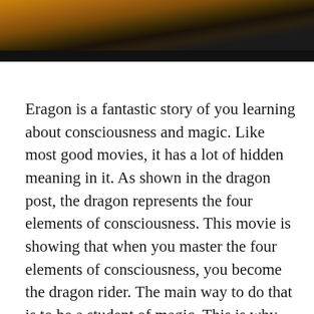[Figure (photo): Top portion of a movie image (likely Eragon) showing a dragon or fantasy scene with warm golden-brown and dark tones, with a black bar at the bottom of the image.]
Eragon is a fantastic story of you learning about consciousness and magic. Like most good movies, it has a lot of hidden meaning in it. As shown in the dragon post, the dragon represents the four elements of consciousness. This movie is showing that when you master the four elements of consciousness, you become the dragon rider. The main way to do that is to be a student of magic. This is why dragons and magic go together. The knowledge of magic is very special and can be used for good or evil. Hence the reason why so many